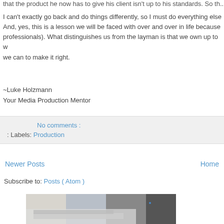that the product he now has to give his client isn't up to his standards. So th...
I can't exactly go back and do things differently, so I must do everything else... And, yes, this is a lesson we will be faced with over and over in life because... professionals). What distinguishes us from the layman is that we own up to w... we can to make it right.
~Luke Holzmann
Your Media Production Mentor
No comments :
Labels: Production
Newer Posts
Home
Subscribe to: Posts ( Atom )
[Figure (photo): Photo of papers/blueprints spread on a surface with a camera bag and pen visible in the background]